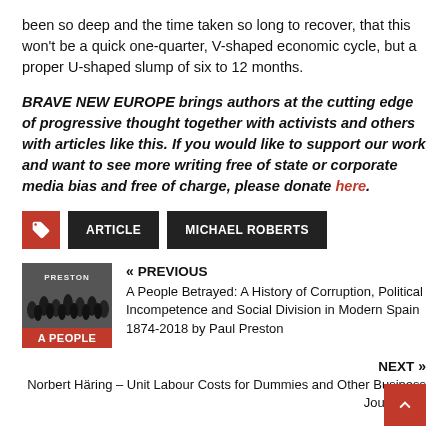been so deep and the time taken so long to recover, that this won't be a quick one-quarter, V-shaped economic cycle, but a proper U-shaped slump of six to 12 months.
BRAVE NEW EUROPE brings authors at the cutting edge of progressive thought together with activists and others with articles like this. If you would like to support our work and want to see more writing free of state or corporate media bias and free of charge, please donate here.
ARTICLE  MICHAEL ROBERTS
[Figure (illustration): Book cover thumbnail for 'A People Betrayed' by Paul Preston showing crowd silhouette on top and red band with 'A PEOPLE' text on bottom, with 'PRESTON' header text]
« PREVIOUS
A People Betrayed: A History of Corruption, Political Incompetence and Social Division in Modern Spain 1874-2018 by Paul Preston
NEXT »
Norbert Häring – Unit Labour Costs for Dummies and Other Business Journalists